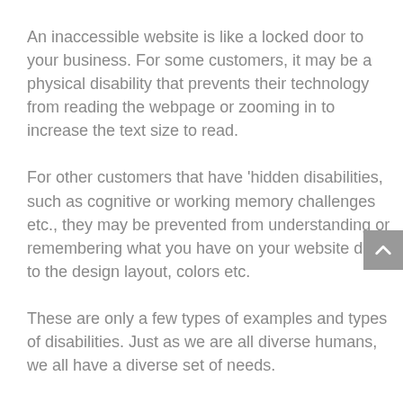An inaccessible website is like a locked door to your business. For some customers, it may be a physical disability that prevents their technology from reading the webpage or zooming in to increase the text size to read.
For other customers that have ‘hidden disabilities, such as cognitive or working memory challenges etc., they may be prevented from understanding or remembering what you have on your website due to the design layout, colors etc.
These are only a few types of examples and types of disabilities. Just as we are all diverse humans, we all have a diverse set of needs.